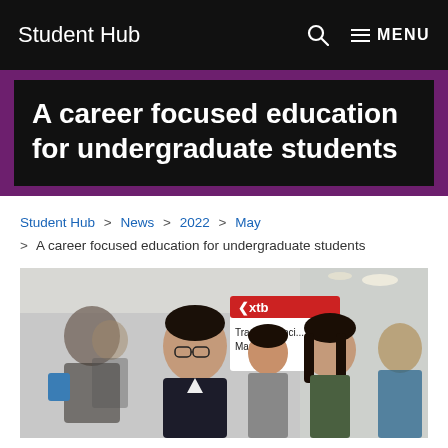Student Hub  Q  ≡ MENU
A career focused education for undergraduate students
Student Hub > News > 2022 > May > A career focused education for undergraduate students
[Figure (photo): Students at a careers fair/event, with an XTB 'Trade Financial Markets' banner visible in the background]